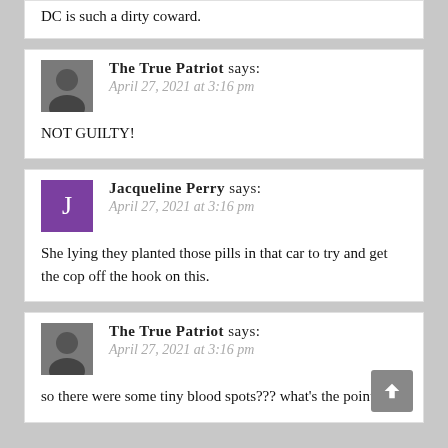DC is such a dirty coward.
The True Patriot says:
April 27, 2021 at 3:16 pm
NOT GUILTY!
Jacqueline Perry says:
April 27, 2021 at 3:16 pm
She lying they planted those pills in that car to try and get the cop off the hook on this.
The True Patriot says:
April 27, 2021 at 3:16 pm
so there were some tiny blood spots??? what's the point